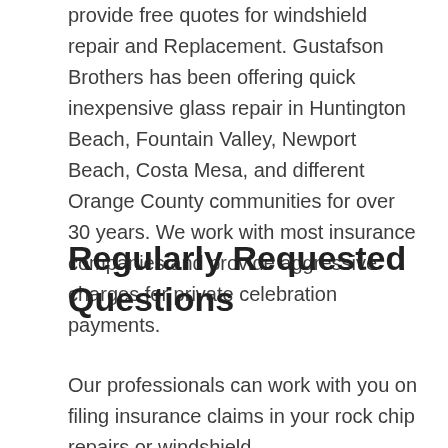provide free quotes for windshield repair and Replacement. Gustafson Brothers has been offering quick inexpensive glass repair in Huntington Beach, Fountain Valley, Newport Beach, Costa Mesa, and different Orange County communities for over 30 years. We work with most insurance companies and provide aggressive charges for private celebration payments.
Regularly Requested Questions
Our professionals can work with you on filing insurance claims in your rock chip repairs or windshield